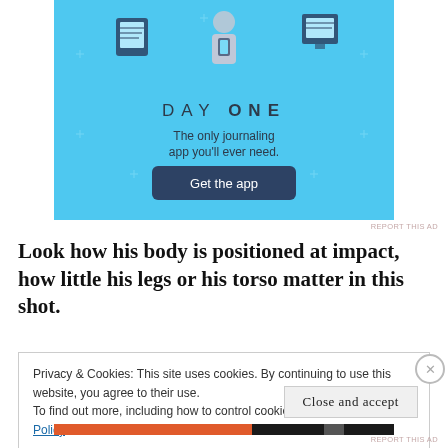[Figure (illustration): DAY ONE journaling app advertisement with light blue background, illustrated people using devices, 'DAY ONE' title, tagline 'The only journaling app you'll ever need.' and a dark blue 'Get the app' button.]
REPORT THIS AD
Look how his body is positioned at impact, how little his legs or his torso matter in this shot.
Privacy & Cookies: This site uses cookies. By continuing to use this website, you agree to their use.
To find out more, including how to control cookies, see here: Cookie Policy
Close and accept
[Figure (illustration): Bottom advertisement strip with red/orange and black bar and 'REPORT THIS AD' text.]
REPORT THIS AD